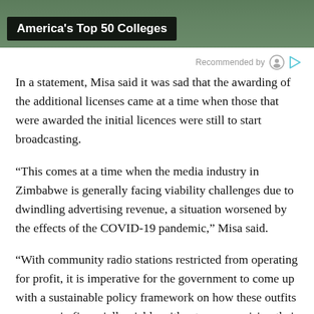[Figure (photo): Top portion of a photo showing trees/campus with a black banner overlay reading 'America's Top 50 Colleges']
America's Top 50 Colleges
Recommended by
In a statement, Misa said it was sad that the awarding of the additional licenses came at a time when those that were awarded the initial licences were still to start broadcasting.
“This comes at a time when the media industry in Zimbabwe is generally facing viability challenges due to dwindling advertising revenue, a situation worsened by the effects of the COVID-19 pandemic,” Misa said.
“With community radio stations restricted from operating for profit, it is imperative for the government to come up with a sustainable policy framework on how these outfits can remain financially viable without compromising their editorial